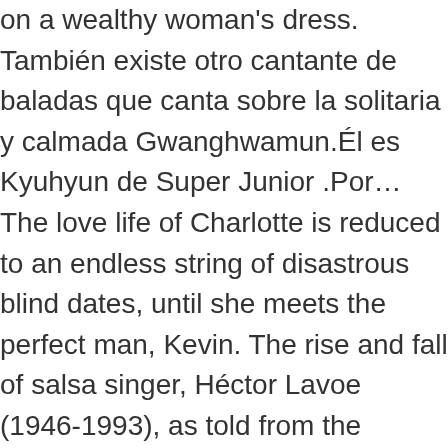on a wealthy woman's dress. También existe otro cantante de baladas que canta sobre la solitaria y calmada Gwanghwamun.Él es Kyuhyun de Super Junior .Por… The love life of Charlotte is reduced to an endless string of disastrous blind dates, until she meets the perfect man, Kevin. The rise and fall of salsa singer, Héctor Lavoe (1946-1993), as told from the perspective of his wife Puchi, who looks back from 2002. (2006). [1] Fue miembro de la banda After School y su subgrupo Orange Caramel. The story is sad and clichéd, but the excitement of seeing Mark Anthony on the screen is real. Was this review helpful to you? You must be a registered user to use the IMDb rating plugin. Manny Perez Cast. Drama, Ordenar por: Xavier Giannoli Director/ayGuión. L'affermazione e il decadimento di un cantante di salsa, Hèctor Lavoe (1946-